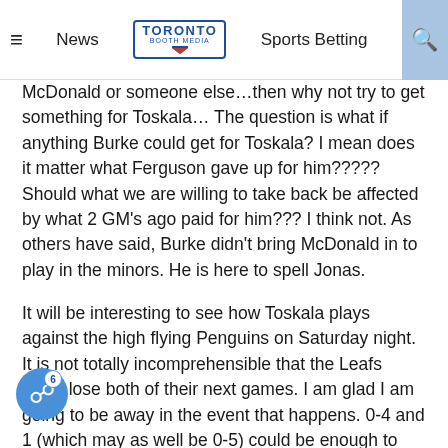≡  News  TORONTO BOOTH MEDIA  Sports Betting  🔍
McDonald or someone else…then why not try to get something for Toskala… The question is what if anything Burke could get for Toskala? I mean does it matter what Ferguson gave up for him????? Should what we are willing to take back be affected by what 2 GM's ago paid for him??? I think not. As others have said, Burke didn't bring McDonald in to play in the minors. He is here to spell Jonas.
It will be interesting to see how Toskala plays against the high flying Penguins on Saturday night. It is not totally incomprehensible that the Leafs could lose both of their next games. I am glad I am going to be away in the event that happens. 0-4 and 1 (which may as well be 0-5) could be enough to really set panic in. I will be in New [York] on Monday, curious to see where and how the Leafs do there.